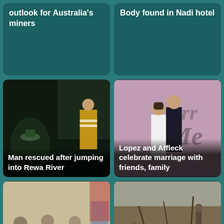outlook for Australia's miners
Body found in Nadi hotel
[Figure (photo): Night scene: aerial view of a boat on a river (left), and a person in high-visibility vest on riverbank (right). Man rescued after jumping into Rewa River.]
Man rescued after jumping into Rewa River
[Figure (photo): Couple (Lopez and Affleck) dressed formally in front of 'Marry Me' movie poster background. Lopez and Affleck celebrate marriage with friends, family.]
Lopez and Affleck celebrate marriage with friends, family
[Figure (photo): People seated around tables in a community hall setting, with a blue flag visible. Churches respond well to Disaster Pilot project.]
Churches respond well to Disaster Pilot project
[Figure (photo): People sitting among rubble and destroyed buildings. Flash fooding kills dozens in Afghanistan, Pakistan.]
Flash fooding kills dozens in Afghanistan, Pakistan